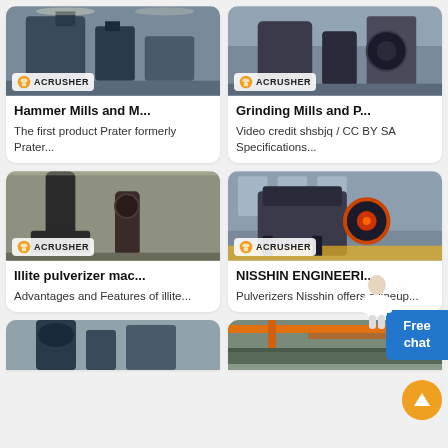[Figure (photo): Industrial hammer mill machinery in a factory setting with Acrusher logo badge]
Hammer Mills and M...
The first product Prater formerly Prater...
[Figure (photo): Grinding mill pulverizer equipment in factory with Acrusher logo badge]
Grinding Mills and P...
Video credit shsbjq / CC BY SA Specifications...
[Figure (photo): Illite pulverizer machine in an industrial warehouse with Acrusher logo badge]
Illite pulverizer mac...
Advantages and Features of illite...
[Figure (photo): NISSHIN jaw crusher or pulverizer industrial equipment with Acrusher logo badge]
NISSHIN ENGINEERI...
Pulverizers Nisshin offers a lineup...
[Figure (photo): Industrial machinery bottom partial view in factory]
[Figure (photo): Industrial conveyor or processing equipment in warehouse]